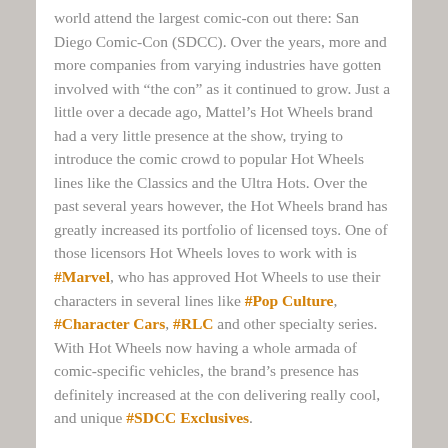world attend the largest comic-con out there: San Diego Comic-Con (SDCC). Over the years, more and more companies from varying industries have gotten involved with “the con” as it continued to grow. Just a little over a decade ago, Mattel’s Hot Wheels brand had a very little presence at the show, trying to introduce the comic crowd to popular Hot Wheels lines like the Classics and the Ultra Hots. Over the past several years however, the Hot Wheels brand has greatly increased its portfolio of licensed toys. One of those licensors Hot Wheels loves to work with is #Marvel, who has approved Hot Wheels to use their characters in several lines like #Pop Culture, #Character Cars, #RLC and other specialty series. With Hot Wheels now having a whole armada of comic-specific vehicles, the brand’s presence has definitely increased at the con delivering really cool, and unique #SDCC Exclusives.